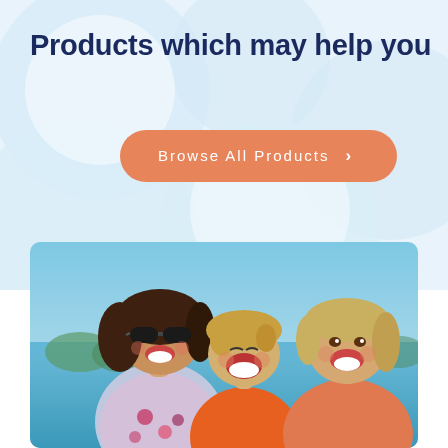Products which may help you
Browse All Products >
[Figure (photo): A smiling woman with sunglasses and two laughing children at a beach or outdoor setting. The mother is wearing a floral dress and the boy is in an orange shirt.]